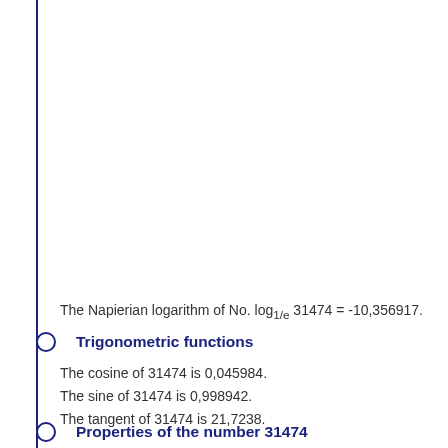The Napierian logarithm of No. log1/e 31474 = -10,356917.
Trigonometric functions
The cosine of 31474 is 0,045984.
The sine of 31474 is 0,998942.
The tangent of 31474 is 21,7238.
Properties of the number 31474